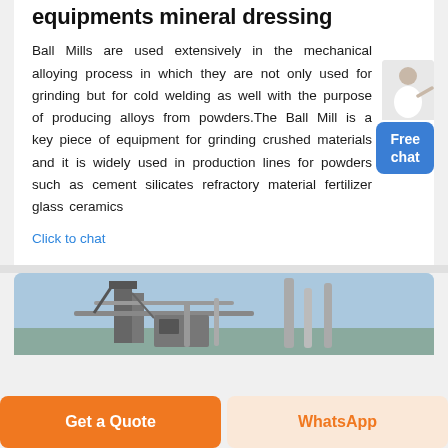equipments mineral dressing
Ball Mills are used extensively in the mechanical alloying process in which they are not only used for grinding but for cold welding as well with the purpose of producing alloys from powders.The Ball Mill is a key piece of equipment for grinding crushed materials and it is widely used in production lines for powders such as cement silicates refractory material fertilizer glass ceramics
Click to chat
[Figure (photo): Industrial plant/machinery photo showing large equipment with pipes and structures against a blue sky]
Get a Quote
WhatsApp